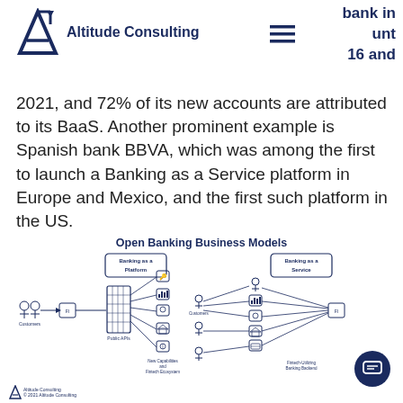Altitude Consulting
2021, and 72% of its new accounts are attributed to its BaaS. Another prominent example is Spanish bank BBVA, which was among the first to launch a Banking as a Service platform in Europe and Mexico, and the first such platform in the US.
[Figure (infographic): Open Banking Business Models diagram showing two models: Banking as a Platform (left) and Banking as a Service (right). The left model shows Customers connecting to FI, then to Public APIs which fan out to New Capabilities and Fintech Ecosystem. The right model shows Customers connecting to various banking services through a Fintech-Utilizing Banking Backend.]
Open Banking Business Models